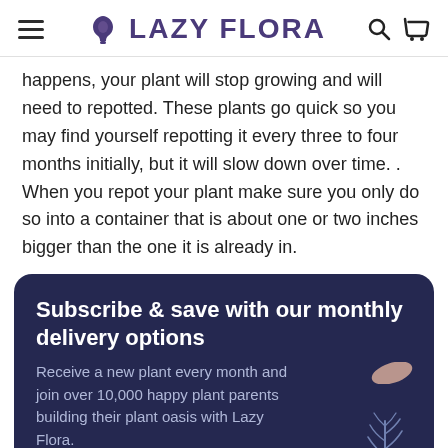LAZY FLORA
happens, your plant will stop growing and will need to repotted. These plants go quick so you may find yourself repotting it every three to four months initially, but it will slow down over time. . When you repot your plant make sure you only do so into a container that is about one or two inches bigger than the one it is already in.
Subscribe & save with our monthly delivery options
Receive a new plant every month and join over 10,000 happy plant parents building their plant oasis with Lazy Flora.